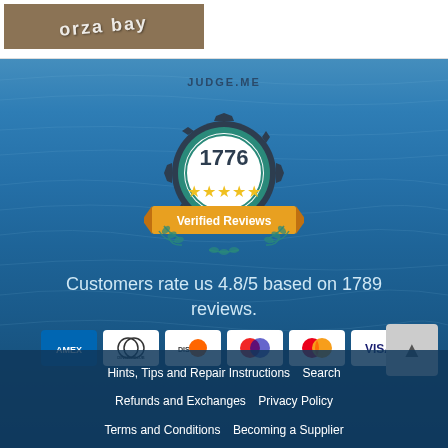[Figure (photo): Top portion of a website showing what appears to be an 'Orza Bay' branded image or product photo with sandy/earthy background, on a white card.]
[Figure (illustration): Judge.me badge showing 1776 verified reviews with 5 gold stars, on an ocean/water ripple background. Badge has dark gear-shaped border, teal inner circle, gold stars, orange ribbon reading 'Verified Reviews', teal laurel wreath at bottom, and JUDGE.ME text at top.]
Customers rate us 4.8/5 based on 1789 reviews.
[Figure (infographic): Row of payment method icons: American Express (AMEX), Diners Club, Discover, Maestro/generic card, Mastercard, Visa — all on white rounded-rectangle backgrounds.]
Hints, Tips and Repair Instructions    Search
Refunds and Exchanges    Privacy Policy
Terms and Conditions    Becoming a Supplier